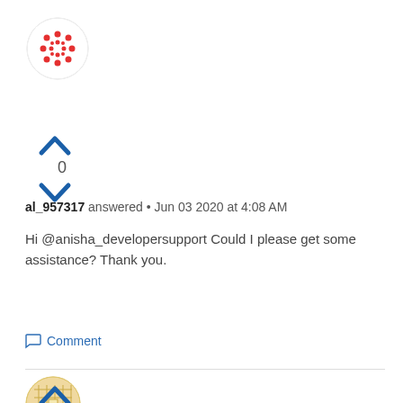[Figure (illustration): Circular avatar with red and white dotted/cross pattern]
[Figure (illustration): Blue upward chevron arrow for upvote]
0
[Figure (illustration): Blue downward chevron arrow for downvote]
al_957317 answered • Jun 03 2020 at 4:08 AM
Hi @anisha_developersupport Could I please get some assistance? Thank you.
Comment
[Figure (illustration): Circular avatar with beige/tan grid pattern]
[Figure (illustration): Blue upward chevron arrow for upvote (second answer)]